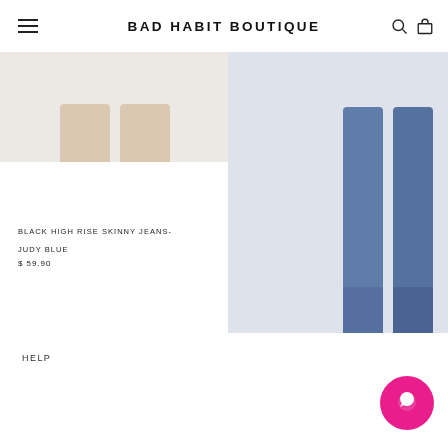BAD HABIT BOUTIQUE
[Figure (photo): Product photo of black high rise skinny jeans with sandals, showing lower legs and feet with brown strappy sandals against a light background]
BLACK HIGH RISE SKINNY JEANS- JUDY BLUE
$ 59.90
[Figure (photo): Product photo of high rise distressed jeans, showing lower portion with blue denim and sandals, cropped at right edge]
HIGH RISE DISTRESSED FINAL SALE
$ 58
HELP